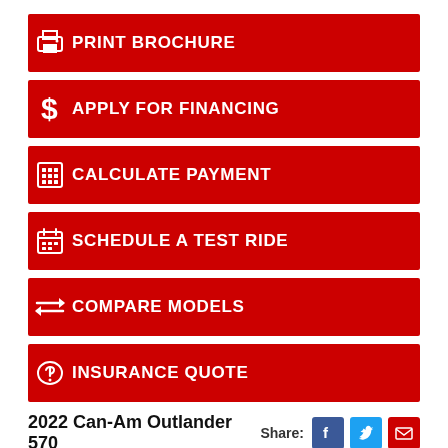PRINT BROCHURE
APPLY FOR FINANCING
CALCULATE PAYMENT
SCHEDULE A TEST RIDE
COMPARE MODELS
INSURANCE QUOTE
2022 Can-Am Outlander 570
| Condition |  |
| --- | --- |
| Condition | New |